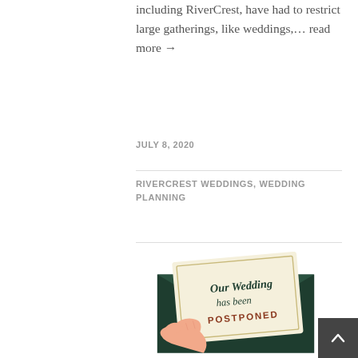including RiverCrest, have had to restrict large gatherings, like weddings,… read more →
JULY 8, 2020
RIVERCREST WEDDINGS, WEDDING PLANNING
[Figure (illustration): Hand holding an envelope with a card that reads 'Our Wedding has been POSTPONED' in script and block letters, with a dark green envelope]